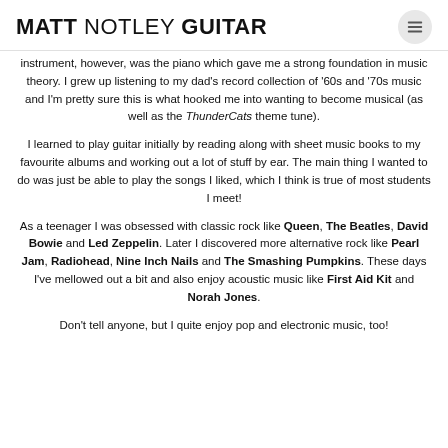MATT NOTLEY GUITAR
instrument, however, was the piano which gave me a strong foundation in music theory. I grew up listening to my dad's record collection of '60s and '70s music and I'm pretty sure this is what hooked me into wanting to become musical (as well as the ThunderCats theme tune).
I learned to play guitar initially by reading along with sheet music books to my favourite albums and working out a lot of stuff by ear. The main thing I wanted to do was just be able to play the songs I liked, which I think is true of most students I meet!
As a teenager I was obsessed with classic rock like Queen, The Beatles, David Bowie and Led Zeppelin. Later I discovered more alternative rock like Pearl Jam, Radiohead, Nine Inch Nails and The Smashing Pumpkins. These days I've mellowed out a bit and also enjoy acoustic music like First Aid Kit and Norah Jones.
Don't tell anyone, but I quite enjoy pop and electronic music, too!